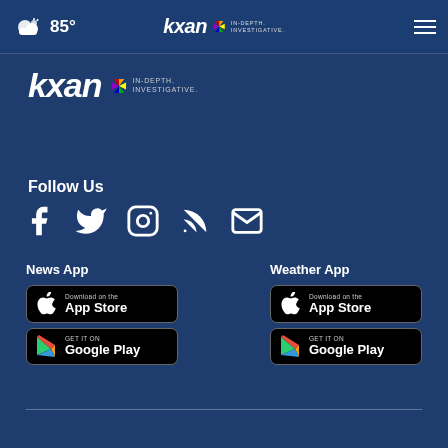85° KXAN IN-DEPTH INVESTIGATIVE
[Figure (logo): KXAN News logo with NBC peacock and IN-DEPTH. INVESTIGATIVE. tagline]
Follow Us
[Figure (infographic): Social media icons: Facebook, Twitter, Instagram, RSS, Email]
News App
[Figure (screenshot): Download on the App Store button (News App)]
[Figure (screenshot): GET IT ON Google Play button (News App)]
Weather App
[Figure (screenshot): Download on the App Store button (Weather App)]
[Figure (screenshot): GET IT ON Google Play button (Weather App)]